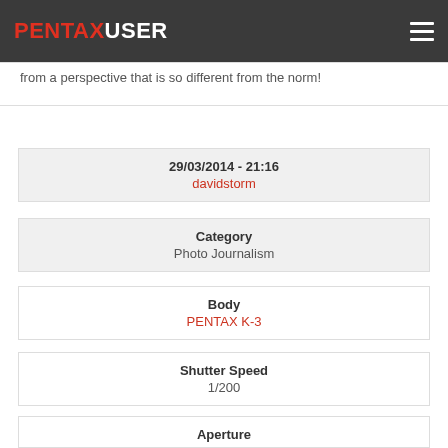PENTAXUSER
from a perspective that is so different from the norm!
| 29/03/2014 - 21:16 | davidstorm |
| Category | Photo Journalism |
| Body | PENTAX K-3 |
| Shutter Speed | 1/200 |
| Aperture | f/5 |
| Lens | N/A |
| ISO | 100 |
| Focal Length |  |